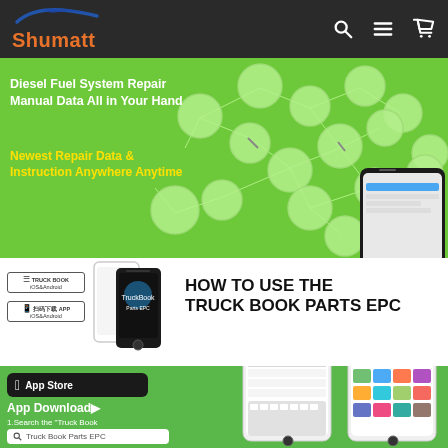[Figure (logo): Shumatt brand logo with orange text and dark wing graphic on dark header bar]
[Figure (infographic): Green banner showing diesel fuel system parts in bubble network nodes connected by lines, with smartphone displaying app in foreground. Text overlay: 'Diesel Fuel System Repair Manual Data All in Your Hand' and 'Newest Repair Data & Instruction Anywhere Anytime']
Diesel Fuel System Repair Manual Data All in Your Hand
Newest Repair Data & Instruction Anywhere Anytime
[Figure (screenshot): HOW TO USE THE TRUCK BOOK PARTS EPC section with phone mockup and app badges for iOS and Android]
HOW TO USE THE TRUCK BOOK PARTS EPC
[Figure (screenshot): App Store download section on green background showing Apple App Store button, app download instructions, search bar with 'Truck Book Parts EPC', and phone screenshots of app store search and install screens]
App Download▶
1.Search the "Truck Book Parts EPC" in Apple App Store
Truck Book Parts EPC